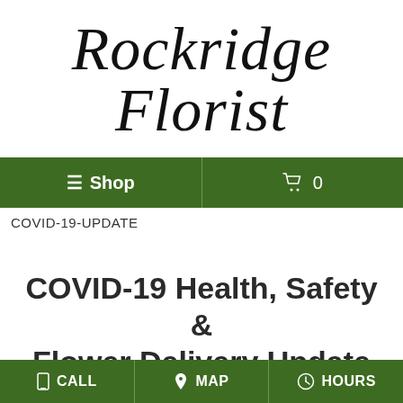Rockridge Florist
≡ Shop  🛒 0
COVID-19-UPDATE
COVID-19 Health, Safety & Flower Delivery Update
Yes We are Still Delivering Flowers
📱 CALL  📍 MAP  🕐 HOURS